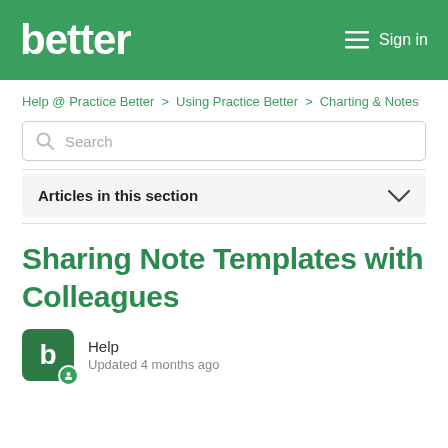better  Sign in
Help @ Practice Better > Using Practice Better > Charting & Notes
Search
Articles in this section
Sharing Note Templates with Colleagues
Help
Updated 4 months ago